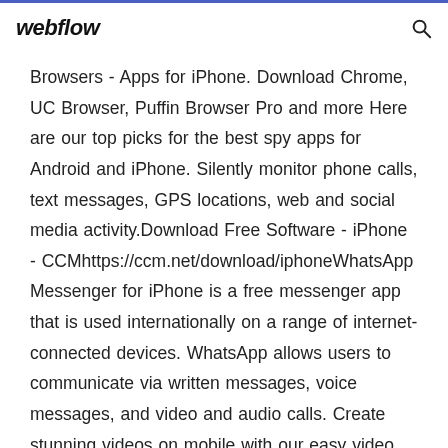webflow
Browsers - Apps for iPhone. Download Chrome, UC Browser, Puffin Browser Pro and more Here are our top picks for the best spy apps for Android and iPhone. Silently monitor phone calls, text messages, GPS locations, web and social media activity.Download Free Software - iPhone - CCMhttps://ccm.net/download/iphoneWhatsApp Messenger for iPhone is a free messenger app that is used internationally on a range of internet-connected devices. WhatsApp allows users to communicate via written messages, voice messages, and video and audio calls. Create stunning videos on mobile with our easy video editing app for iPhone and iOS. Share to